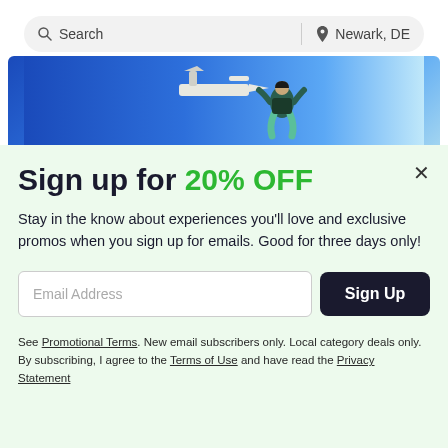[Figure (screenshot): Search bar with search icon and text 'Search' on left, divider, location pin icon and 'Newark, DE' on right, rounded pill shape on grey background]
[Figure (photo): Skydiver jumping from plane against bright blue sky background]
Sign up for 20% OFF
Stay in the know about experiences you'll love and exclusive promos when you sign up for emails. Good for three days only!
Email Address [input field]  Sign Up [button]
See Promotional Terms. New email subscribers only. Local category deals only. By subscribing, I agree to the Terms of Use and have read the Privacy Statement